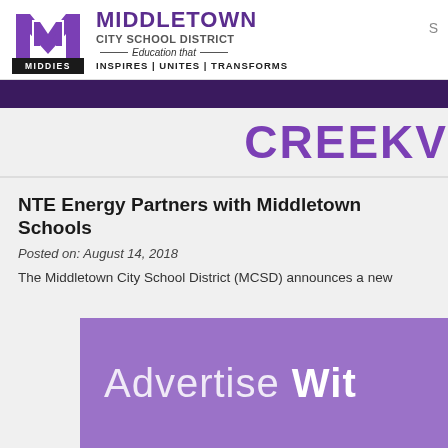[Figure (logo): Middletown City School District logo with large purple M and MIDDIES text, alongside school name and tagline]
MIDDLETOWN CITY SCHOOL DISTRICT — Education that INSPIRES | UNITES | TRANSFORMS
CREEKV
NTE Energy Partners with Middletown Schools
Posted on: August 14, 2018
The Middletown City School District (MCSD) announces a new...
[Figure (infographic): Purple advertisement banner with text 'Advertise Wit']